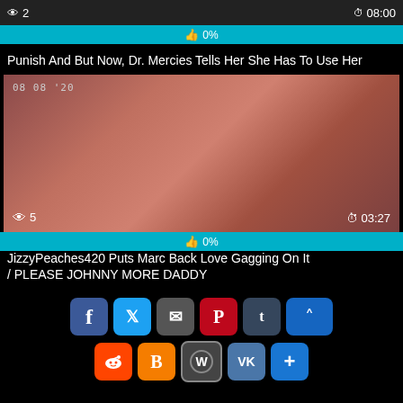[Figure (screenshot): Video thumbnail top strip with view count '2' on left and duration '08:00' on right]
0%
Punish And But Now, Dr. Mercies Tells Her She Has To Use Her
[Figure (screenshot): Video thumbnail showing intimate scene with timestamp 08 08 '20, view count 5, duration 03:27]
0%
JizzyPeaches420 Puts Marc Back Love Gagging On It / PLEASE JOHNNY MORE DADDY
[Figure (infographic): Social sharing buttons: Facebook, Twitter, Email, Pinterest, Tumblr, scroll-up, Reddit, Blogger, WordPress, VK, More]